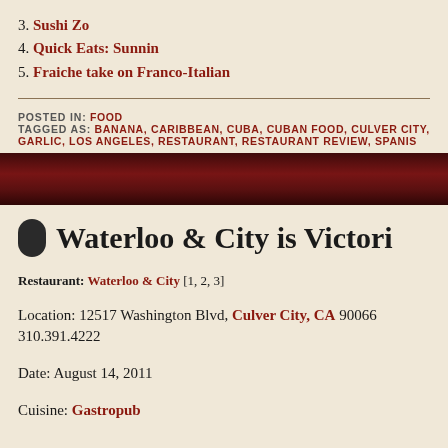3. Sushi Zo
4. Quick Eats: Sunnin
5. Fraiche take on Franco-Italian
POSTED IN: FOOD
TAGGED AS: BANANA, CARIBBEAN, CUBA, CUBAN FOOD, CULVER CITY, GARLIC, LOS ANGELES, RESTAURANT, RESTAURANT REVIEW, SPANISH
[Figure (photo): Dark red/maroon banner image with textured background]
Waterloo & City is Victori
Restaurant: Waterloo & City [1, 2, 3]
Location: 12517 Washington Blvd, Culver City, CA 90066  310.391.4222
Date: August 14, 2011
Cuisine: Gastropub